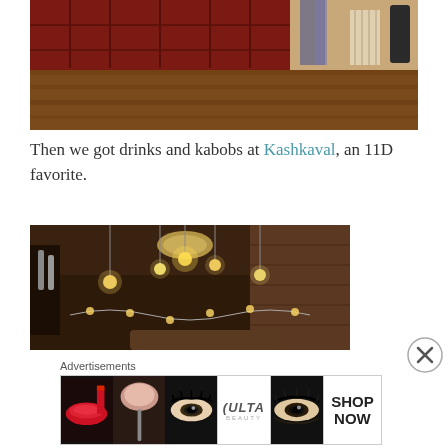[Figure (photo): Interior photo showing dark red wooden paneled wall with hardwood floor and draped fabric]
Then we got drinks and kabobs at Kashkaval, an 11D favorite.
[Figure (photo): Interior photo of a dimly lit restaurant with warm Edison bulb lights hanging from ceiling, brick walls visible]
Advertisements
[Figure (photo): ULTA beauty advertisement banner showing makeup close-up photos and 'SHOP NOW' text]